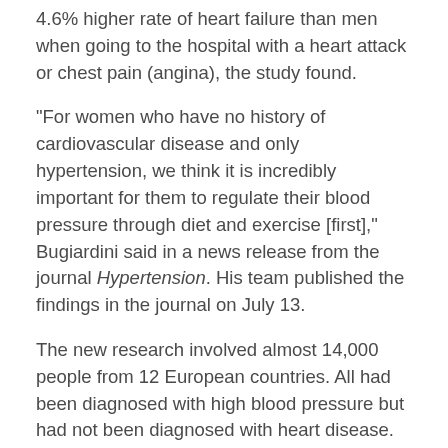4.6% higher rate of heart failure than men when going to the hospital with a heart attack or chest pain (angina), the study found.
"For women who have no history of cardiovascular disease and only hypertension, we think it is incredibly important for them to regulate their blood pressure through diet and exercise [first]," Bugiardini said in a news release from the journal Hypertension. His team published the findings in the journal on July 13.
The new research involved almost 14,000 people from 12 European countries. All had been diagnosed with high blood pressure but had not been diagnosed with heart disease.
Besides the nearly 5% higher odds of developing heart failure overall after heart attack, the study found that the type of heart attack mattered.